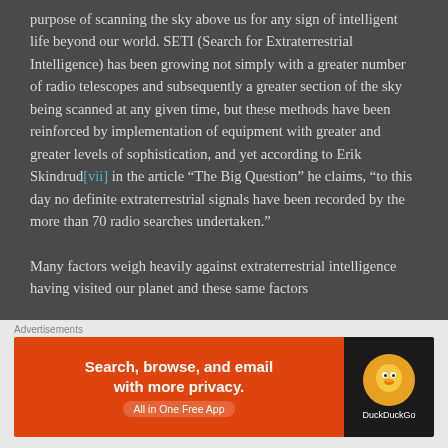purpose of scanning the sky above us for any sign of intelligent life beyond our world. SETI (Search for Extraterrestrial Intelligence) has been growing not simply with a greater number of radio telescopes and subsequently a greater section of the sky being scanned at any given time, but these methods have been reinforced by implementation of equipment with greater and greater levels of sophistication, and yet according to Erik Skindrud[vii] in the article “The Big Question” he claims, “to this day no definite extraterrestrial signals have been recorded by the more than 70 radio searches undertaken.”
Many factors weigh heavily against extraterrestrial intelligence having visited our planet and these same factors
[Figure (other): DuckDuckGo advertisement banner: orange left side with text 'Search, browse, and email with more privacy. All in One Free App' and dark right side with DuckDuckGo logo]